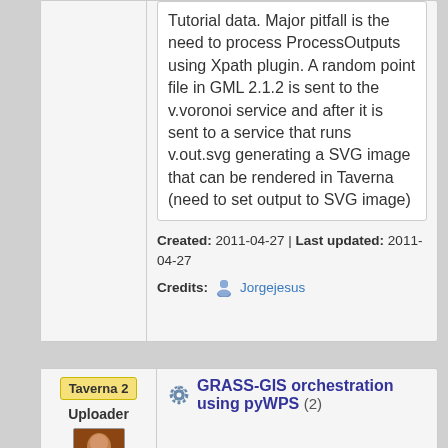Tutorial data. Major pitfall is the need to process ProcessOutputs using Xpath plugin. A random point file in GML 2.1.2 is sent to the v.voronoi service and after it is sent to a service that runs v.out.svg generating a SVG image that can be rendered in Taverna (need to set output to SVG image)
Created: 2011-04-27 | Last updated: 2011-04-27
Credits: Jorgejesus
Taverna 2
Uploader
GRASS-GIS orchestration using pyWPS (2)